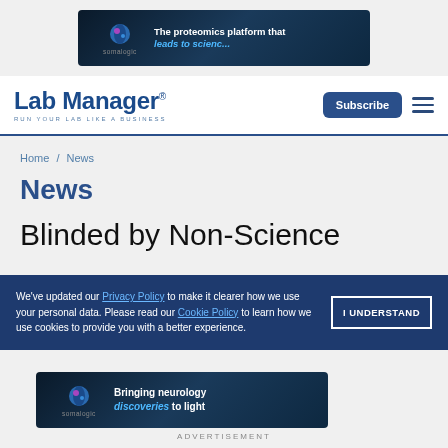[Figure (other): SomaLogic advertisement banner at top: dark blue background, SomaLogic logo, text 'The proteomics platform that leads to...discoveries']
Lab Manager | Run Your Lab Like a Business — Subscribe button and hamburger menu
Home / News
News
Blinded by Non-Science
We've updated our Privacy Policy to make it clearer how we use your personal data. Please read our Cookie Policy to learn how we use cookies to provide you with a better experience.
[Figure (other): SomaLogic advertisement banner at bottom: dark blue background, SomaLogic logo, text 'Bringing neurology discoveries to light']
ADVERTISEMENT